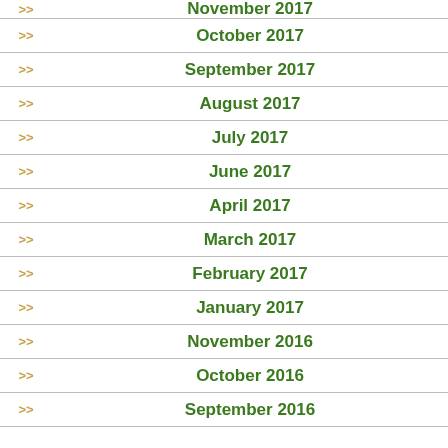November 2017
October 2017
September 2017
August 2017
July 2017
June 2017
April 2017
March 2017
February 2017
January 2017
November 2016
October 2016
September 2016